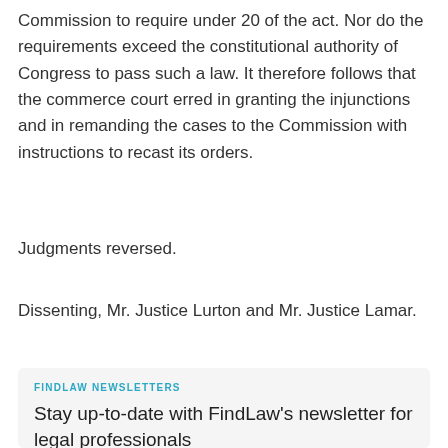Commission to require under 20 of the act. Nor do the requirements exceed the constitutional authority of Congress to pass such a law. It therefore follows that the commerce court erred in granting the injunctions and in remanding the cases to the Commission with instructions to recast its orders.
Judgments reversed.
Dissenting, Mr. Justice Lurton and Mr. Justice Lamar.
FINDLAW NEWSLETTERS
Stay up-to-date with FindLaw's newsletter for legal professionals
Enter your email address: